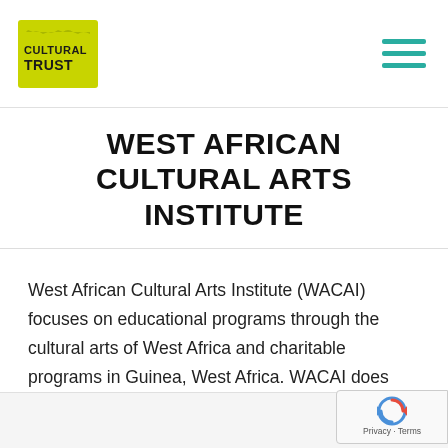Oregon Cultural Trust — navigation header with logo and hamburger menu
WEST AFRICAN CULTURAL ARTS INSTITUTE
West African Cultural Arts Institute (WACAI) focuses on educational programs through the cultural arts of West Africa and charitable programs in Guinea, West Africa. WACAI does this by...
VIEW NONPROFIT
[Figure (logo): reCAPTCHA privacy badge with circular arrow logo, Privacy · Terms text]